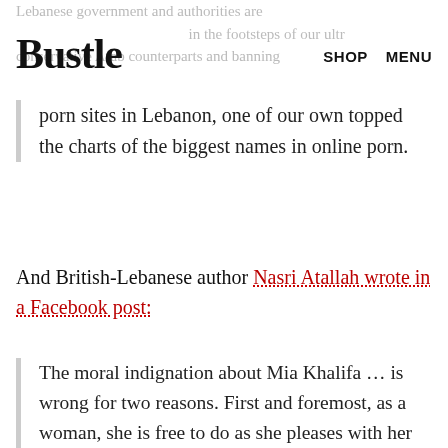Lebanese government and authorities are in the footsteps of our ultra conservative Arab counterparts and banning
Bustle
SHOP   MENU
porn sites in Lebanon, one of our own topped the charts of the biggest names in online porn.
And British-Lebanese author Nasri Atallah wrote in a Facebook post:
The moral indignation about Mia Khalifa … is wrong for two reasons. First and foremost, as a woman, she is free to do as she pleases with her body. Secondly, as a sentient human being with agency, who lives halfway across the world, she is in charge of her own life and owes absolutely nothing to the country where she happened to be born. Then is this oddly patronizing that h...